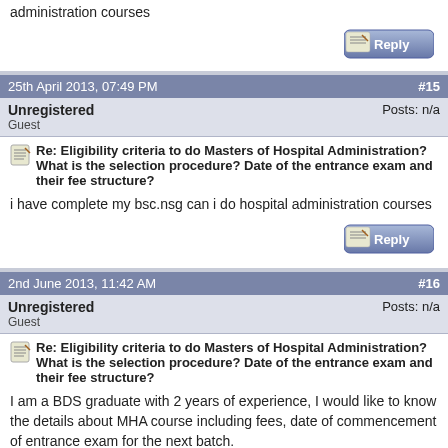administration courses
[Figure (other): Reply button]
25th April 2013, 07:49 PM  #15
Unregistered
Guest
Posts: n/a
Re: Eligibility criteria to do Masters of Hospital Administration? What is the selection procedure? Date of the entrance exam and their fee structure?
i have complete my bsc.nsg can i do hospital administration courses
[Figure (other): Reply button]
2nd June 2013, 11:42 AM  #16
Unregistered
Guest
Posts: n/a
Re: Eligibility criteria to do Masters of Hospital Administration? What is the selection procedure? Date of the entrance exam and their fee structure?
I am a BDS graduate with 2 years of experience, I would like to know the details about MHA course including fees, date of commencement of entrance exam for the next batch.
Thanks
[Figure (other): Reply button]